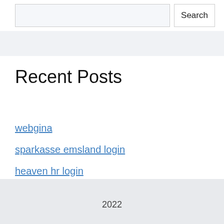Search
Recent Posts
webgina
sparkasse emsland login
heaven hr login
finosdirect login
secure kabel deutschland
2022